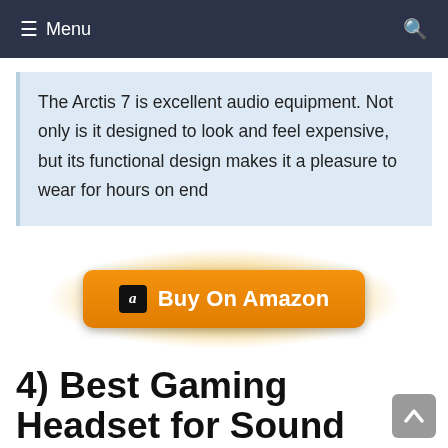≡ Menu
The Arctis 7 is excellent audio equipment. Not only is it designed to look and feel expensive, but its functional design makes it a pleasure to wear for hours on end
[Figure (other): Orange 'Buy On Amazon' button with Amazon logo icon]
4) Best Gaming Headset for Sound Quality: SteelSeries Arctis 1